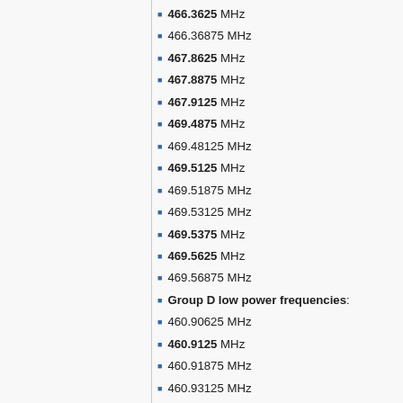466.3625 MHz
466.36875 MHz
467.8625 MHz
467.8875 MHz
467.9125 MHz
469.4875 MHz
469.48125 MHz
469.5125 MHz
469.51875 MHz
469.53125 MHz
469.5375 MHz
469.5625 MHz
469.56875 MHz
Group D low power frequencies:
460.90625 MHz
460.9125 MHz
460.91875 MHz
460.93125 MHz
460.9375 MHz
460.94375 MHz
460.95625 MHz
460.9625 MHz